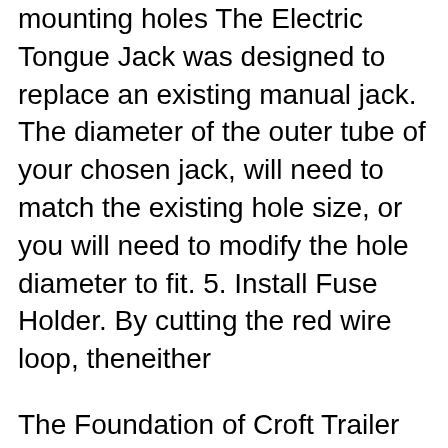mounting holes The Electric Tongue Jack was designed to replace an existing manual jack. The diameter of the outer tube of your chosen jack, will need to match the existing hole size, or you will need to modify the hole diameter to fit. 5. Install Fuse Holder. By cutting the red wire loop, theneither
The Foundation of Croft Trailer Supply. Product Reliability. Customer Satisfaction. Speedy Delivery. Croft has grown from generation to generation to include four service centers and a distribution center. We still manufacture Croft trailers with the same integrity and attention to craftsmanship as George did over seventy years ago. This